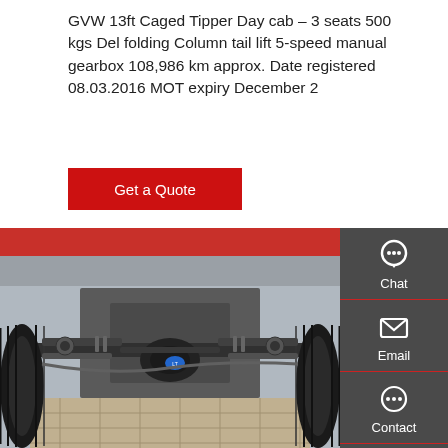GVW 13ft Caged Tipper Day cab – 3 seats 500 kgs Del folding Column tail lift 5-speed manual gearbox 108,986 km approx. Date registered 08.03.2016 MOT expiry December 2
[Figure (other): Red button/widget labeled Get a Quote]
[Figure (photo): Underside view of a truck/tipper vehicle showing axle, suspension, and tires from below, parked on tiled surface]